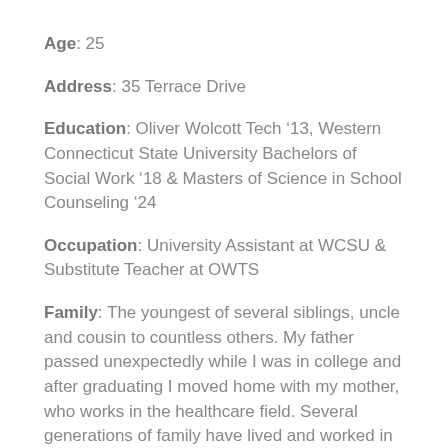Age: 25
Address: 35 Terrace Drive
Education: Oliver Wolcott Tech ’13, Western Connecticut State University Bachelors of Social Work ’18 & Masters of Science in School Counseling ’24
Occupation: University Assistant at WCSU & Substitute Teacher at OWTS
Family: The youngest of several siblings, uncle and cousin to countless others. My father passed unexpectedly while I was in college and after graduating I moved home with my mother, who works in the healthcare field. Several generations of family have lived and worked in